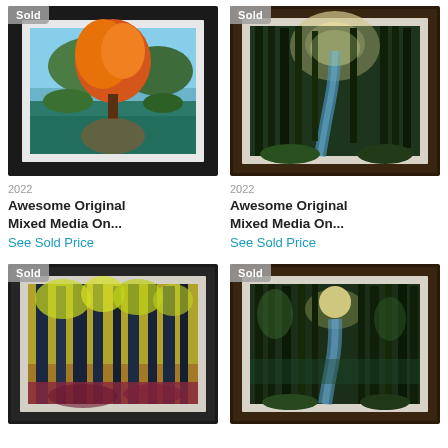[Figure (photo): Framed painting of an autumn tree with orange foliage near water, with 'Sold' badge in top-left corner]
2022
Awesome Original Mixed Media On...
See Sold Price
[Figure (photo): Framed painting of a forest with tall trees and a winding stream, with 'Sold' badge in top-left corner]
2022
Awesome Original Mixed Media On...
See Sold Price
[Figure (photo): Framed painting of a colorful forest scene with yellow-green foliage and dark tree trunks, with 'Sold' badge]
[Figure (photo): Framed painting of a moonlit forest with a stream winding through trees, with 'Sold' badge]